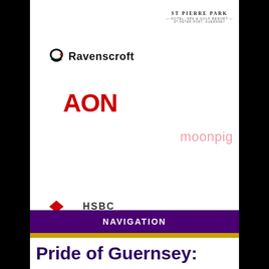[Figure (logo): St Pierre Park Hotel, Spa & Golf Resort logo — text header top right]
[Figure (logo): Ravenscroft logo — helmet icon with bold text]
[Figure (logo): AON logo — bold red text]
[Figure (logo): moonpig logo — pink lowercase text]
[Figure (logo): HSBC logo — red chevron triangles icon with HSBC text]
NAVIGATION
Pride of Guernsey: